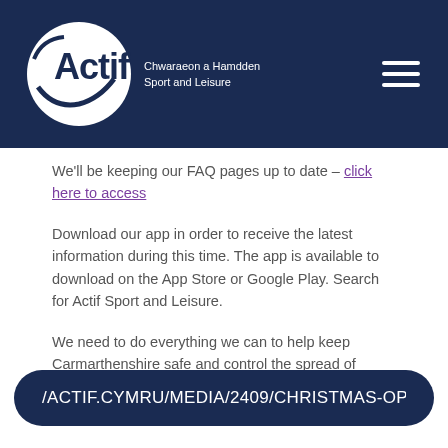[Figure (logo): Actif Sport and Leisure logo with Welsh text 'Chwaraeon a Hamdden' on dark navy header bar]
We'll be keeping our FAQ pages up to date – click here to access
Download our app in order to receive the latest information during this time. The app is available to download on the App Store or Google Play. Search for Actif Sport and Leisure.
We need to do everything we can to help keep Carmarthenshire safe and control the spread of Covid-19 in our communities.
/ACTIF.CYMRU/MEDIA/2409/CHRISTMAS-OPENING-HO